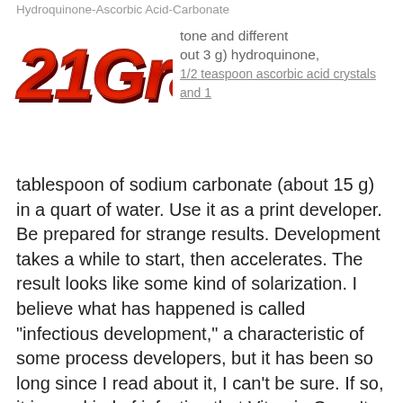Hydroquinone-Ascorbic Acid-Carbonate
[Figure (logo): 21Gradi logo in bold red 3D lettering with shadow effect]
tone and different about 3 g) hydroquinone, 1/2 teaspoon ascorbic acid crystals and 1 tablespoon of sodium carbonate (about 15 g) in a quart of water. Use it as a print developer. Be prepared for strange results. Development takes a while to start, then accelerates. The result looks like some kind of solarization. I believe what has happened is called "infectious development," a characteristic of some process developers, but it has been so long since I read about it, I can't be sure. If so, it is one kind of infection that Vitamin C can't cure. But add 2 ml of Phenidone-alcohol solution and try again. Now, you have a fairly decent print developer. Do not mix any more than you can use in a couple of hours if you decide that it is worth